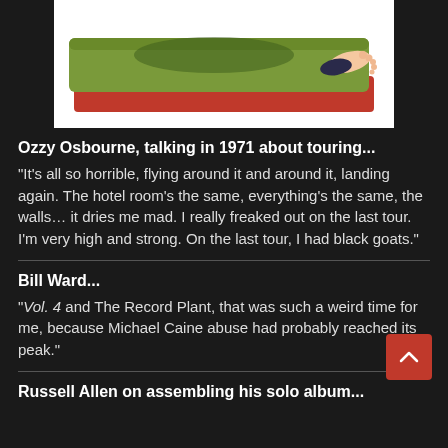[Figure (illustration): Cartoon illustration of a person lying under/on a green mattress or couch with red base, one foot visible, on a white background.]
Ozzy Osbourne, talking in 1971 about touring...
“It’s all so horrible, flying around it and around it, landing again. The hotel room’s the same, everything’s the same, the walls… it dries me mad. I really freaked out on the last tour. I’m very high and strong. On the last tour, I had black goats.”
Bill Ward...
“Vol. 4 and The Record Plant, that was such a weird time for me, because Michael Caine abuse had probably reached its peak.”
Russell Allen on assembling his solo album...